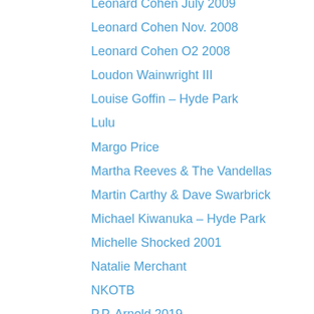Leonard Cohen July 2009
Leonard Cohen Nov. 2008
Leonard Cohen O2 2008
Loudon Wainwright III
Louise Goffin – Hyde Park
Lulu
Margo Price
Martha Reeves & The Vandellas
Martin Carthy & Dave Swarbrick
Michael Kiwanuka – Hyde Park
Michelle Shocked 2001
Natalie Merchant
NKOTB
P.P. Arnold 2019
Paul Simon & Sting 2015
Paul Simon – Hyde Park 2018
Paul Simon 2016
Paul Simon Nov. 2006
Paul Simon Oct. 2000
Preston Shannon